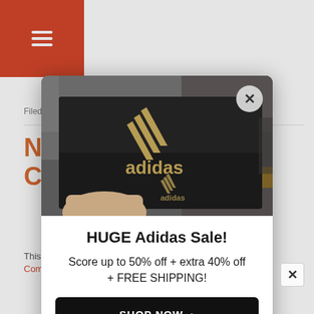[Figure (screenshot): Background webpage with red hamburger menu header, orange article title starting with 'Ni...' and 'Cla...', filed under text, description, and comments link]
[Figure (photo): Adidas shoe box being held in a store, with visible Adidas logo and shelving in background]
HUGE Adidas Sale!
Score up to 50% off + extra 40% off + FREE SHIPPING!
SHOP NOW >